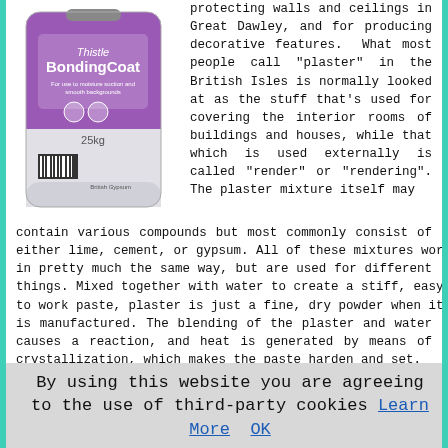[Figure (photo): Product bag: Thistle BondingCoat by British Gypsum, purple and white 25kg bag]
protecting walls and ceilings in Great Dawley, and for producing decorative features. What most people call "plaster" in the British Isles is normally looked at as the stuff that's used for covering the interior rooms of buildings and houses, while that which is used externally is called "render" or "rendering". The plaster mixture itself may contain various compounds but most commonly consist of either lime, cement, or gypsum. All of these mixtures work in pretty much the same way, but are used for different things. Mixed together with water to create a stiff, easy to work paste, plaster is just a fine, dry powder when it is manufactured. The blending of the plaster and water causes a reaction, and heat is generated by means of crystallization, which makes the paste harden and set. (Tags: Plaster Great Dawley, Plastering Great Dawley, Render Great Dawley)
Dry Lining (Plasterboarding) Great Dawley
By using this website you are agreeing to the use of third-party cookies Learn More  OK